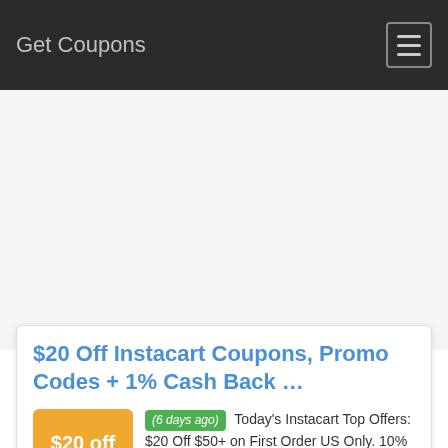Get Coupons
$20 Off Instacart Coupons, Promo Codes + 1% Cash Back …
(6 days ago) Today's Instacart Top Offers: $20 Off $50+ on First Order US Only. 10% Cash Back Sitewide For New Customers. Coupon